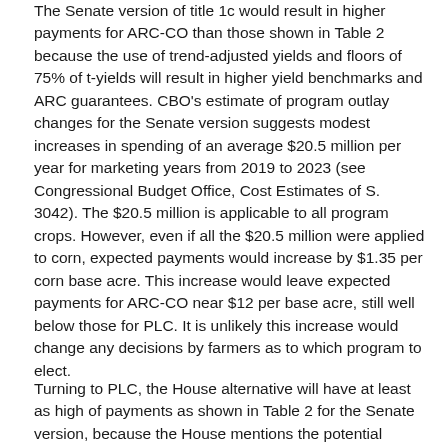The Senate version of title 1c would result in higher payments for ARC-CO than those shown in Table 2 because the use of trend-adjusted yields and floors of 75% of t-yields will result in higher yield benchmarks and ARC guarantees. CBO's estimate of program outlay changes for the Senate version suggests modest increases in spending of an average $20.5 million per year for marketing years from 2019 to 2023 (see Congressional Budget Office, Cost Estimates of S. 3042). The $20.5 million is applicable to all program crops. However, even if all the $20.5 million were applied to corn, expected payments would increase by $1.35 per corn base acre. This increase would leave expected payments for ARC-CO near $12 per base acre, still well below those for PLC. It is unlikely this increase would change any decisions by farmers as to which program to elect.
Turning to PLC, the House alternative will have at least as high of payments as shown in Table 2 for the Senate version, because the House mentions the potential...